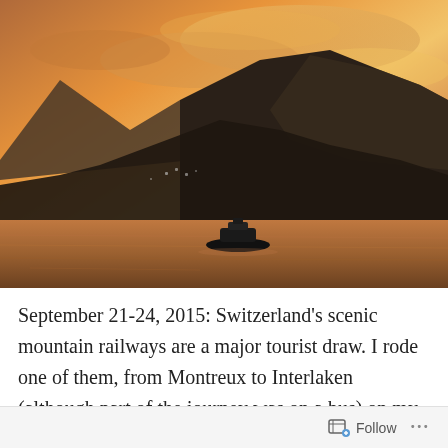[Figure (photo): Sunset over a mountain lake with dramatic orange and purple sky. Dark silhouetted mountain range in the background. A small motorboat is visible on the calm water in the foreground. A small town or village is visible at the base of the mountains.]
September 21-24, 2015: Switzerland's scenic mountain railways are a major tourist draw. I rode one of them, from Montreux to Interlaken (although part of the journey was on a bus) on my ill-fated 2005 trip. That ride I went first
Follow ...